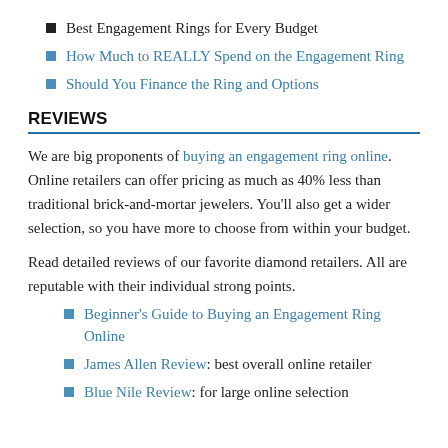Best Engagement Rings for Every Budget
How Much to REALLY Spend on the Engagement Ring
Should You Finance the Ring and Options
REVIEWS
We are big proponents of buying an engagement ring online. Online retailers can offer pricing as much as 40% less than traditional brick-and-mortar jewelers. You'll also get a wider selection, so you have more to choose from within your budget.
Read detailed reviews of our favorite diamond retailers. All are reputable with their individual strong points.
Beginner's Guide to Buying an Engagement Ring Online
James Allen Review: best overall online retailer
Blue Nile Review: for large online selection